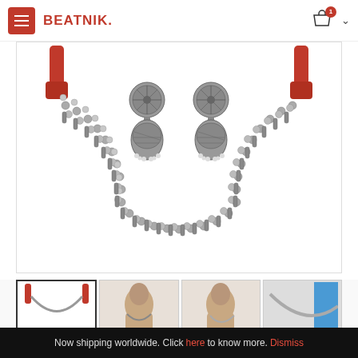BEATNIK. — navigation bar with hamburger menu, brand name, cart icon with badge 1
[Figure (photo): Silver oxidized necklace set with matching jhumka earrings. The necklace features multiple rows of silver balls with dangling cylindrical pendants, tied with red fabric strings. Earrings are circular with intricate filigree tops and bell-shaped jhumka bottoms with pearl dangles.]
[Figure (photo): Thumbnail 1: Close-up product shot of the necklace on white background]
[Figure (photo): Thumbnail 2: Woman wearing the necklace set]
[Figure (photo): Thumbnail 3: Woman wearing the necklace set, alternate angle]
[Figure (photo): Thumbnail 4: Partial view of necklace]
Now shipping worldwide. Click here to know more. Dismiss